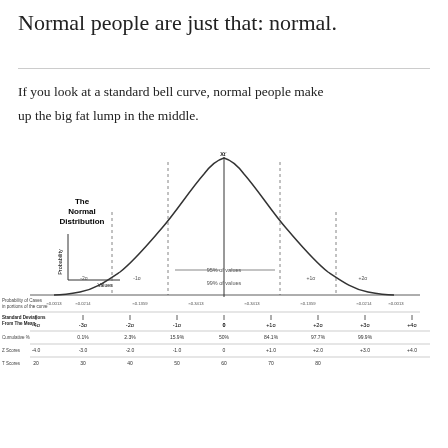Normal people are just that: normal.
If you look at a standard bell curve, normal people make up the big fat lump in the middle.
[Figure (continuous-plot): The Normal Distribution bell curve diagram showing standard deviations from the mean, with probability of cases in portions of the curve, cumulative percentages, Z Scores, and T Scores labeled. The curve peaks at the mean (x-bar), with dashed lines at -1σ, +1σ (95% of values) and -2σ, +2σ (99% of values). Labels include proportions like 0.0013, 0.0214, 0.1359, 0.3413 etc. Standard deviations from -4σ to +4σ. Cumulative %: 0.1%, 2.3%, 15.9%, 50%, 84.1%, 97.7%, 99.9%. Z Scores: -4.0 to +4.0. T Scores: 20 to 80.]